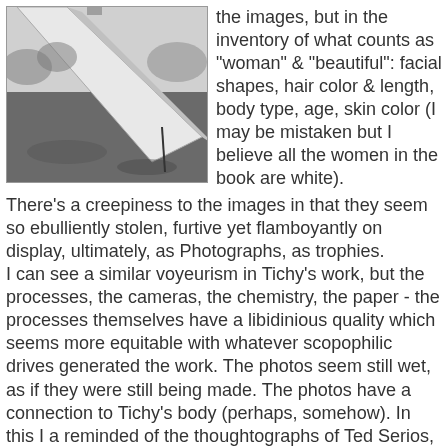[Figure (photo): Black and white photograph showing a diagonal concrete or stone beam/structure over bare ground, with some vegetation in the background.]
the images, but in the inventory of what counts as "woman" & "beautiful": facial shapes, hair color & length, body type, age, skin color (I may be mistaken but I believe all the women in the book are white). There's a creepiness to the images in that they seem so ebulliently stolen, furtive yet flamboyantly on display, ultimately, as Photographs, as trophies.
I can see a similar voyeurism in Tichy's work, but the processes, the cameras, the chemistry, the paper - the processes themselves have a libidinious quality which seems more equitable with whatever scopophilic drives generated the work. The photos seem still wet, as if they were still being made. The photos have a connection to Tichy's body (perhaps, somehow). In this I a reminded of the thoughtographs of Ted Serios, or the pinhole camera images made in Ann Hamilton's mouth. Also, the images seem more grounded, slower. Winogrand is in motion, in flight, perpetually, in his photos, & there is not the slightest hint of any connection other than a quick glance (wham, blam